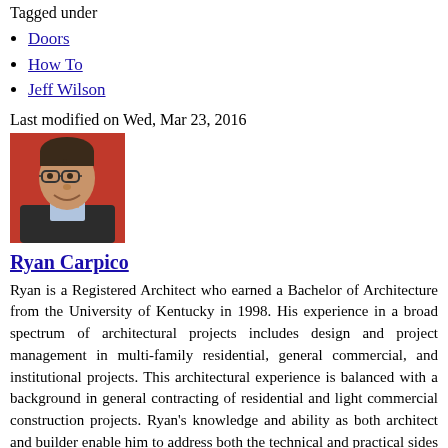Published in 06 46 00 Wood Trim
Tagged under
Doors
How To
Jeff Wilson
Last modified on Wed, Mar 23, 2016
[Figure (photo): Headshot of Ryan Carpico, a man with glasses and short dark hair, smiling, wearing a dark blazer and light shirt, against a red-orange background.]
Ryan Carpico
Ryan is a Registered Architect who earned a Bachelor of Architecture from the University of Kentucky in 1998. His experience in a broad spectrum of architectural projects includes design and project management in multi-family residential, general commercial, and institutional projects. This architectural experience is balanced with a background in general contracting of residential and light commercial construction projects. Ryan's knowledge and ability as both architect and builder enable him to address both the technical and practical sides of the comprehensive